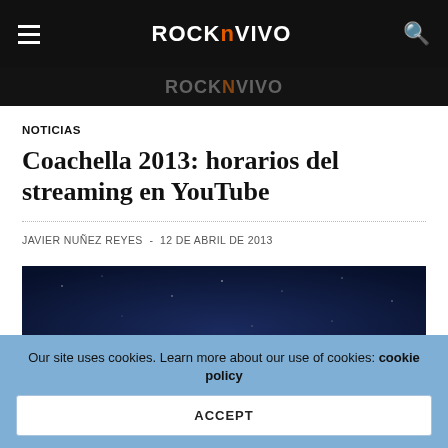ROCKNVIVO
NOTICIAS
Coachella 2013: horarios del streaming en YouTube
JAVIER NUÑEZ REYES - 12 DE ABRIL DE 2013
[Figure (photo): Dark blue night sky background photo, likely related to Coachella festival]
Our site uses cookies. Learn more about our use of cookies: cookie policy
ACCEPT